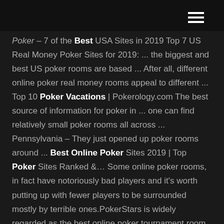[hamburger menu icon]
Poker – 7 of the Best USA Sites in 2019 Top 7 US Real Money Poker Sites for 2019: ... the biggest and best US poker rooms are based ... After all, different online poker real money rooms appeal to different ... Top 10 Poker Vacations | Pokerology.com The best source of information for poker in ... one can find relatively small poker rooms all across ... Pennsylvania – They just opened up poker rooms around ... Best Online Poker Sites 2019 | Top Poker Sites Ranked &... Some online poker rooms, in fact have notoriously bad players and it's worth putting up with fewer players to be surrounded mostly by terrible ones.PokerStars is widely regarded as the best online poker tournament room in the world - and the best site to play mixed games - but there are arguably...